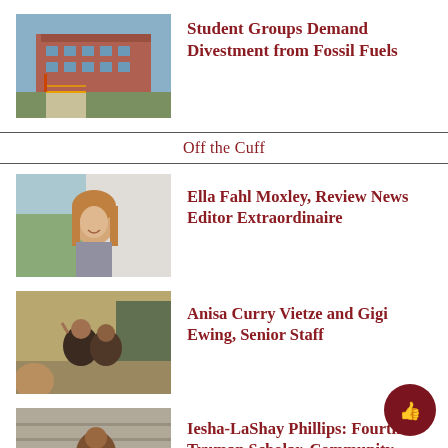[Figure (photo): Exterior of a university brick building with construction barriers and yellow caution tape along a pathway, green lawn, blue sky]
Student Groups Demand Divestment from Fossil Fuels
Off the Cuff
[Figure (photo): Young woman with long brown hair smiling outdoors near trees and a white wall]
Ella Fahl Moxley, Review News Editor Extraordinaire
[Figure (photo): Two people posing outdoors at dusk near gravel and trees, one raising a finger]
Anisa Curry Vietze and Gigi Ewing, Senior Staff
[Figure (photo): Person leaning on a Yale University sign, smiling outdoors]
Iesha-LaShay Phillips: Fourth- Truman Scholar, Community